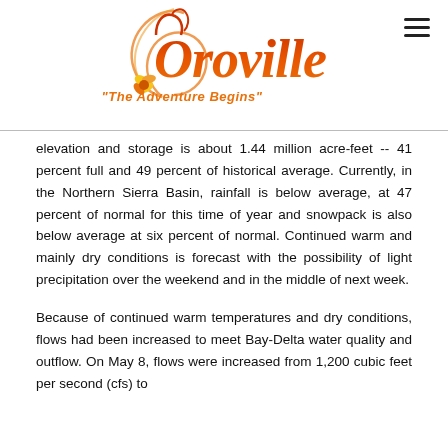[Figure (logo): Oroville city logo with stylized text reading 'Oroville' in orange/red cursive with flower decoration and tagline 'The Adventure Begins' in orange]
elevation and storage is about 1.44 million acre-feet -- 41 percent full and 49 percent of historical average. Currently, in the Northern Sierra Basin, rainfall is below average, at 47 percent of normal for this time of year and snowpack is also below average at six percent of normal. Continued warm and mainly dry conditions is forecast with the possibility of light precipitation over the weekend and in the middle of next week.
Because of continued warm temperatures and dry conditions, flows had been increased to meet Bay-Delta water quality and outflow. On May 8, flows were increased from 1,200 cubic feet per second (cfs) to